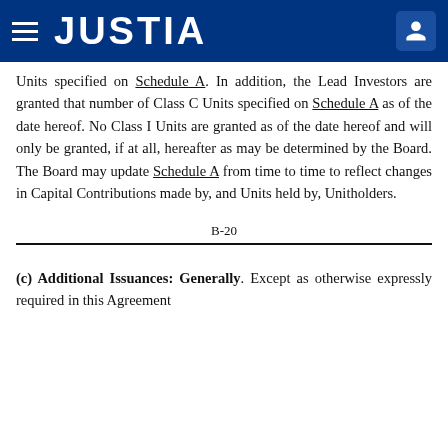JUSTIA
Units specified on Schedule A. In addition, the Lead Investors are granted that number of Class C Units specified on Schedule A as of the date hereof. No Class I Units are granted as of the date hereof and will only be granted, if at all, hereafter as may be determined by the Board. The Board may update Schedule A from time to time to reflect changes in Capital Contributions made by, and Units held by, Unitholders.
B-20
(c) Additional Issuances: Generally. Except as otherwise expressly required in this Agreement